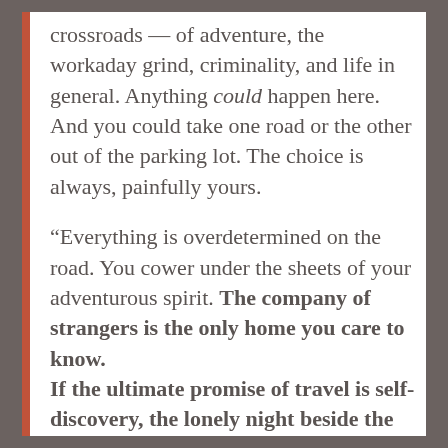crossroads — of adventure, the workaday grind, criminality, and life in general. Anything could happen here. And you could take one road or the other out of the parking lot. The choice is always, painfully yours.
“Everything is overdetermined on the road. You cower under the sheets of your adventurous spirit. The company of strangers is the only home you care to know. If the ultimate promise of travel is self-discovery, the lonely night beside the highway might be the